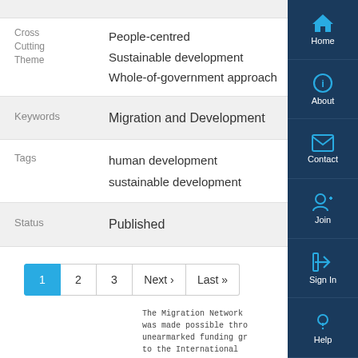| Label | Value |
| --- | --- |
| Cross Cutting Theme | People-centred
Sustainable development
Whole-of-government approach |
| Keywords | Migration and Development |
| Tags | human development
sustainable development |
| Status | Published |
1
2
3
Next ›
Last »
The Migration Network was made possible thro unearmarked funding gr to the International